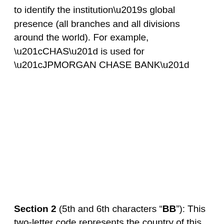to identify the institution's global presence (all branches and all divisions around the world). For example, “CHAS” is used for “JPMORGAN CHASE BANK”
Section 2 (5th and 6th characters “BB”): This two-letter code represents the country of this particular institution’s branch and follows the ISO 3166-1 alpha-2 standard for